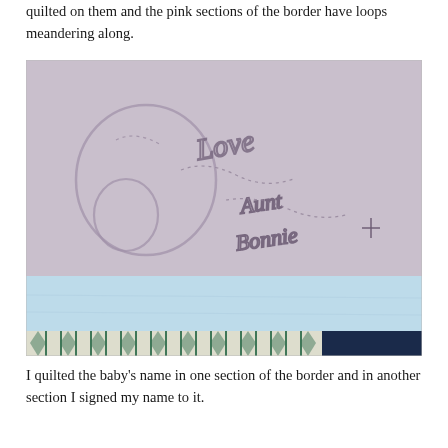quilted on them and the pink sections of the border have loops meandering along.
[Figure (photo): Close-up photograph of a quilt showing a pink/lavender section with quilted cursive text reading 'Love' and 'Aunt Bonnie', with decorative looping quilt stitching. Below is a light blue fabric section and at the bottom a strip of green and white geometric patterned fabric alongside dark navy fabric.]
I quilted the baby’s name in one section of the border and in another section I signed my name to it.